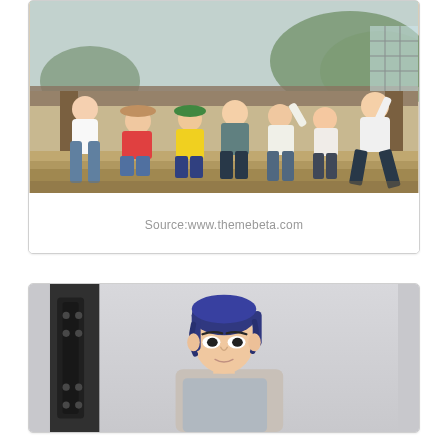[Figure (photo): Group photo of K-pop boy band posing at a traditional Korean architecture setting. Multiple young men in colorful casual streetwear clothing seated and standing on steps of a hanok building with wooden pillars and green trees in background.]
Source:www.themebeta.com
[Figure (photo): Portrait photo of a young Asian man with dark blue/purple dyed hair against a light gray studio background. He is wearing casual clothing and looking at the camera.]